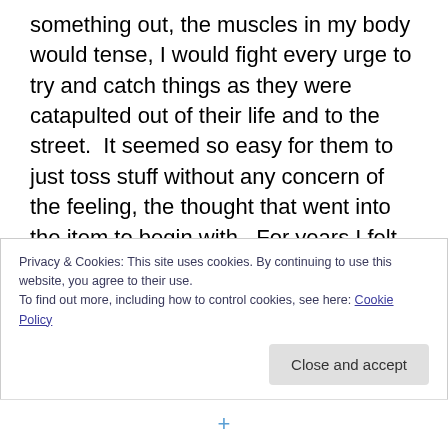something out, the muscles in my body would tense, I would fight every urge to try and catch things as they were catapulted out of their life and to the street.  It seemed so easy for them to just toss stuff without any concern of the feeling, the thought that went into the item to begin with.  For years I felt this way.  Many, many years. But then, I also experienced what it was like to save for a lifetime.  When my Grandfather passed away and my Grandmother moved out of their house, the house they lived in, raised their kids in, empty nested in and had grandchildren visit, I was there to help clean it out.  The house and the garage
Privacy & Cookies: This site uses cookies. By continuing to use this website, you agree to their use.
To find out more, including how to control cookies, see here: Cookie Policy
Close and accept